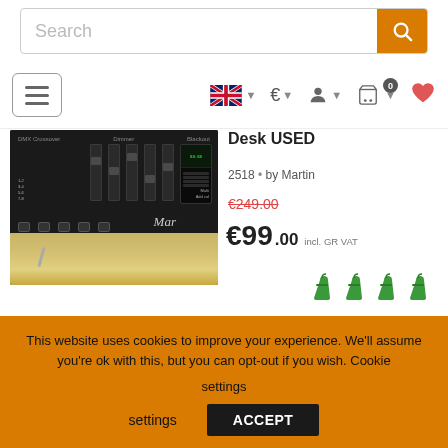Search
[Figure (screenshot): E-commerce product page for a DMX lighting desk (used), showing product image, pricing at €99.00 (was €249.00), Add to cart button, and cookie consent banner.]
Desk USED
2518 • by Martin
€249.00
€99.00 incl. GR VAT
Add to cart
This website uses cookies to improve your experience. We'll assume you're ok with this, but you can opt-out if you wish. Cookie settings
ACCEPT